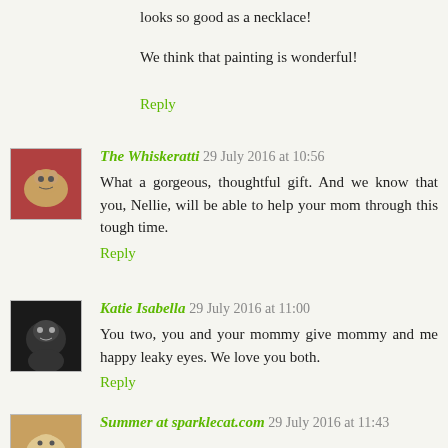looks so good as a necklace!
We think that painting is wonderful!
Reply
The Whiskeratti 29 July 2016 at 10:56
What a gorgeous, thoughtful gift. And we know that you, Nellie, will be able to help your mom through this tough time.
Reply
Katie Isabella 29 July 2016 at 11:00
You two, you and your mommy give mommy and me happy leaky eyes. We love you both.
Reply
Summer at sparklecat.com 29 July 2016 at 11:43